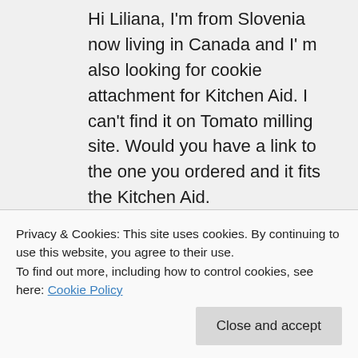Hi Liliana, I'm from Slovenia now living in Canada and I' m also looking for cookie attachment for Kitchen Aid. I can't find it on Tomato milling site. Would you have a link to the one you ordered and it fits the Kitchen Aid.
Milena
↪ Reply
andreamacleod on November 30, 2017
http://www.cullinans.eu/KitchenAid-
Privacy & Cookies: This site uses cookies. By continuing to use this website, you agree to their use.
To find out more, including how to control cookies, see here: Cookie Policy
Close and accept